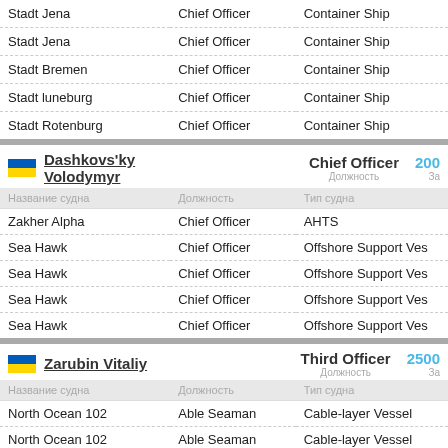| Название судна | Должность | Тип судна |
| --- | --- | --- |
| Stadt Jena | Chief Officer | Container Ship |
| Stadt Jena | Chief Officer | Container Ship |
| Stadt Bremen | Chief Officer | Container Ship |
| Stadt luneburg | Chief Officer | Container Ship |
| Stadt Rotenburg | Chief Officer | Container Ship |
Dashkovs'ky Volodymyr — Chief Officer — 200...
| Название судна | Должность | Тип судна |
| --- | --- | --- |
| Zakher Alpha | Chief Officer | AHTS |
| Sea Hawk | Chief Officer | Offshore Support Vessel |
| Sea Hawk | Chief Officer | Offshore Support Vessel |
| Sea Hawk | Chief Officer | Offshore Support Vessel |
| Sea Hawk | Chief Officer | Offshore Support Vessel |
Zarubin Vitaliy — Third Officer — 2500...
| Название судна | Должность | Тип судна |
| --- | --- | --- |
| North Ocean 102 | Able Seaman | Cable-layer Vessel |
| North Ocean 102 | Able Seaman | Cable-layer Vessel |